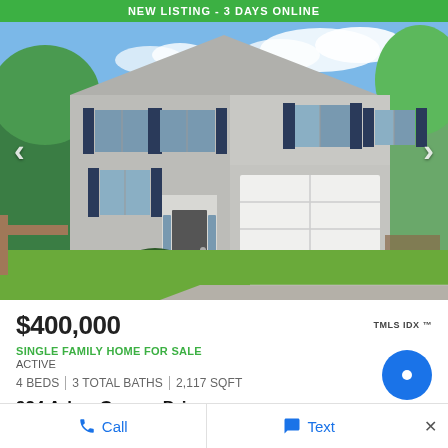NEW LISTING - 3 DAYS ONLINE
[Figure (photo): Front exterior of a two-story single family home with gray siding, dark shutters, attached two-car garage, front lawn, and driveway. Trees visible on both sides.]
$400,000
TMLS IDX ™
SINGLE FAMILY HOME FOR SALE
ACTIVE
4 BEDS | 3 TOTAL BATHS | 2,117 SQFT
924 Arbor Greene Drive
Garner, NC 27529
Arbor Greene Subdivision
Call   Text   ×